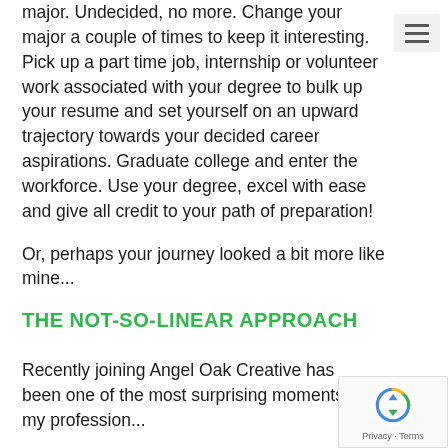major. Undecided, no more. Change your major a couple of times to keep it interesting. Pick up a part time job, internship or volunteer work associated with your degree to bulk up your resume and set yourself on an upward trajectory towards your decided career aspirations. Graduate college and enter the workforce. Use your degree, excel with ease and give all credit to your path of preparation!
Or, perhaps your journey looked a bit more like mine...
THE NOT-SO-LINEAR APPROACH
Recently joining Angel Oak Creative has been one of the most surprising moments of my professional...